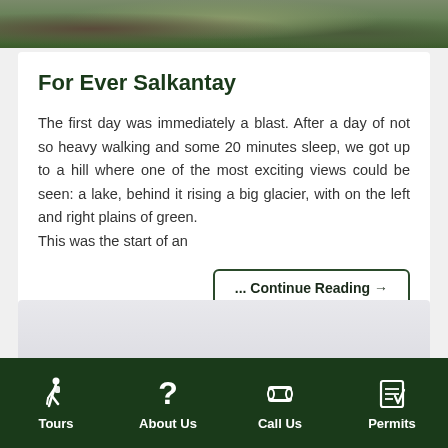[Figure (photo): Top portion of outdoor/nature photo showing hikers or people in a rocky, green landscape with vegetation]
For Ever Salkantay
The first day was immediately a blast. After a day of not so heavy walking and some 20 minutes sleep, we got up to a hill where one of the most exciting views could be seen: a lake, behind it rising a big glacier, with on the left and right plains of green.
This was the start of an
... Continue Reading →
[Figure (photo): Partially visible second image with light grey/blue gradient background, likely a landscape or sky photo]
Tours   About Us   Call Us   Permits